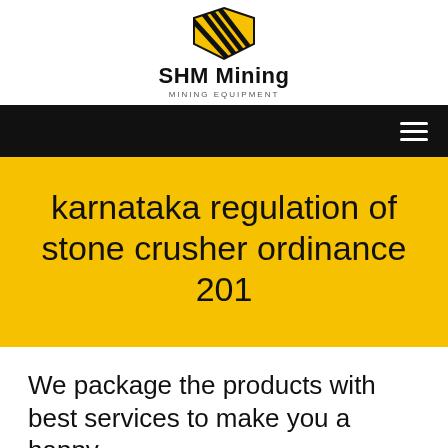[Figure (logo): SHM Mining logo with diagonal striped yellow and black shield-like emblem, company name 'SHM Mining' in bold and tagline 'MINING EQUIPMENT' in small caps]
SHM Mining MINING EQUIPMENT
karnataka regulation of stone crusher ordinance 201
We package the products with best services to make you a happy